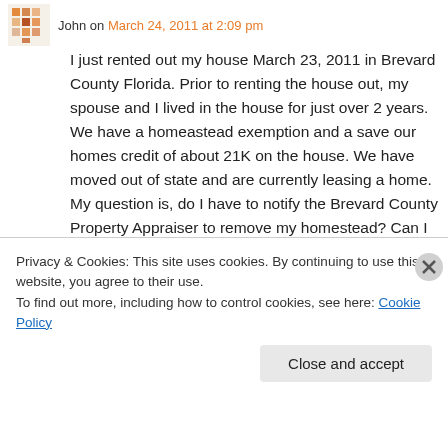John on March 24, 2011 at 2:09 pm
I just rented out my house March 23, 2011 in Brevard County Florida. Prior to renting the house out, my spouse and I lived in the house for just over 2 years. We have a homeastead exemption and a save our homes credit of about 21K on the house. We have moved out of state and are currently leasing a home. My question is, do I have to notify the Brevard County Property Appraiser to remove my homestead? Can I keep it until I buy again in another state?
Privacy & Cookies: This site uses cookies. By continuing to use this website, you agree to their use.
To find out more, including how to control cookies, see here: Cookie Policy